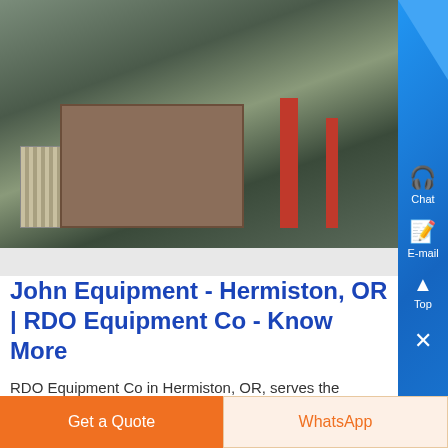[Figure (photo): Photo of industrial/agricultural equipment including corrugated metal panels, wooden crates, and red poles/structures in a warehouse or outdoor setting]
John Equipment - Hermiston, OR | RDO Equipment Co - Know More
RDO Equipment Co in Hermiston, OR, serves the Yakima and lower valley regions We sell and service John agriculture and lawn and garden equipment along with Vermeer products Additionally, we carry string trimmers from Maruyama and walk-behind mowers and generate
Get a Quote
WhatsApp